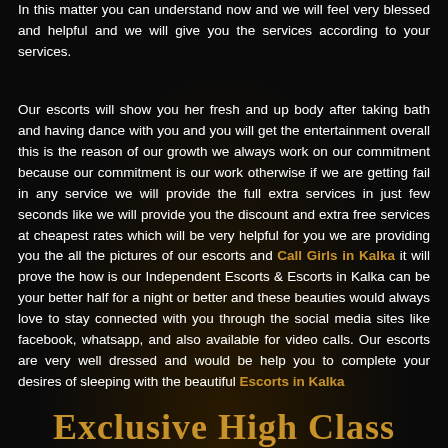In this matter you can understand now and we will feel very blessed and helpful and we will give you the services according to your services.
Our escorts will show you her fresh and up body after taking bath and having dance with you and you will get the entertainment overall this is the reason of our growth we always work on our commitment because our commitment is our work otherwise if we are getting fail in any service we will provide the full extra services in just few seconds like we will provide you the discount and extra free services at cheapest rates which will be very helpful for you we are providing you the all the pictures of our escorts and Call Girls in Kalka it will prove the how is our Independent Escorts & Escorts in Kalka can be your better half for a night or better and these beauties would always love to stay connected with you through the social media sites like facebook, whatsapp, and also available for video calls. Our escorts are very well dressed and would be help you to complete your desires of sleeping with the beautiful Escorts in Kalka
Exclusive High Class